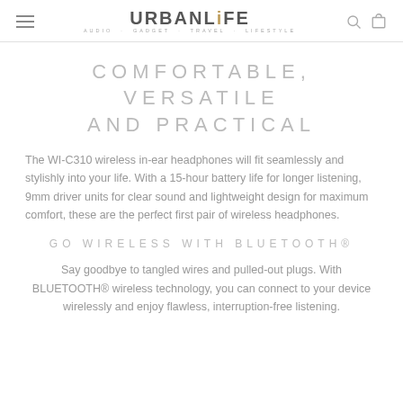URBANLIFE AUDIO · GADGET · TRAVEL · LIFESTYLE
COMFORTABLE, VERSATILE AND PRACTICAL
The WI-C310 wireless in-ear headphones will fit seamlessly and stylishly into your life. With a 15-hour battery life for longer listening, 9mm driver units for clear sound and lightweight design for maximum comfort, these are the perfect first pair of wireless headphones.
GO WIRELESS WITH BLUETOOTH®
Say goodbye to tangled wires and pulled-out plugs. With BLUETOOTH® wireless technology, you can connect to your device wirelessly and enjoy flawless, interruption-free listening.